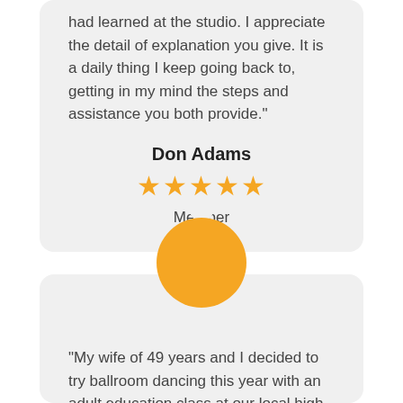had learned at the studio. I appreciate the detail of explanation you give. It is a daily thing I keep going back to, getting in my mind the steps and assistance you both provide."
Don Adams
★★★★★
Member
[Figure (illustration): Golden/orange circle avatar placeholder]
"My wife of 49 years and I decided to try ballroom dancing this year with an adult education class at our local high school